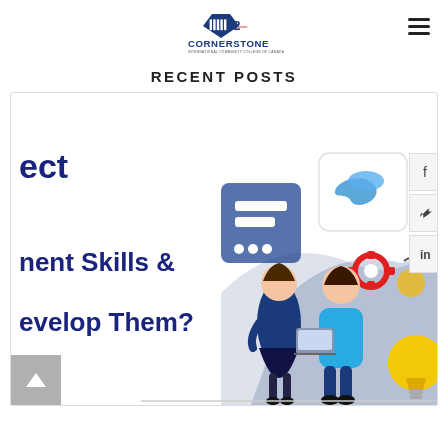[Figure (logo): Cornerstone International Community College of Canada logo with '42 years' diamond icon and text]
RECENT POSTS
[Figure (illustration): Blog post card showing text 'ect / nent Skills & / evelop Them?' partially visible on the left, with an illustration of two people collaborating with icons for business/technology on the right background]
[Figure (other): Social media sidebar icons: Facebook, Twitter, LinkedIn]